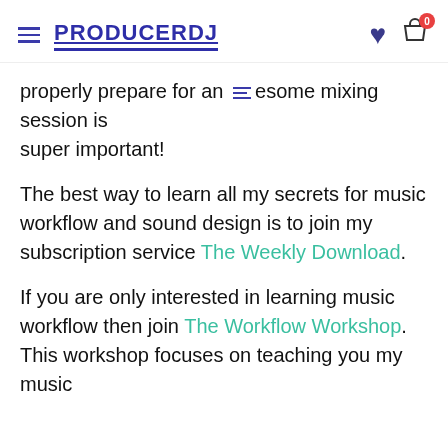PRODUCERDJ
properly prepare for an awesome mixing session is super important!
The best way to learn all my secrets for music workflow and sound design is to join my subscription service The Weekly Download.
If you are only interested in learning music workflow then join The Workflow Workshop. This workshop focuses on teaching you my music